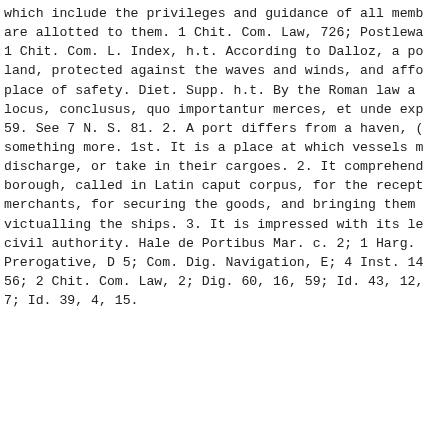which include the privileges and guidance of all memb are allotted to them. 1 Chit. Com. Law, 726; Postlewa 1 Chit. Com. L. Index, h.t. According to Dalloz, a po land, protected against the waves and winds, and affo place of safety. Diet. Supp. h.t. By the Roman law a locus, conclusus, quo importantur merces, et unde exp 59. See 7 N. S. 81. 2. A port differs from a haven, ( something more. 1st. It is a place at which vessels m discharge, or take in their cargoes. 2. It comprehend borough, called in Latin caput corpus, for the recept merchants, for securing the goods, and bringing them victualling the ships. 3. It is impressed with its le civil authority. Hale de Portibus Mar. c. 2; 1 Harg. Prerogative, D 5; Com. Dig. Navigation, E; 4 Inst. 14 56; 2 Chit. Com. Law, 2; Dig. 60, 16, 59; Id. 43, 12, 7; Id. 39, 4, 15.